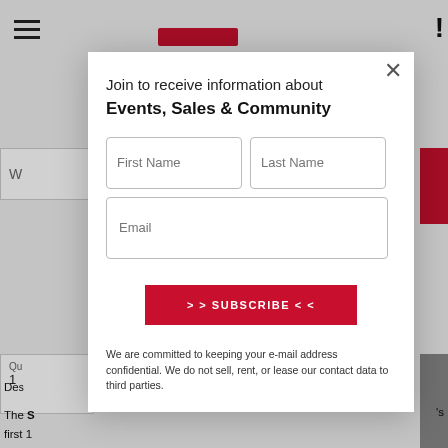[Figure (screenshot): Website page background showing hamburger menu icon, partial logo, search/quantity UI elements, and partially visible product page text, with a subscription modal overlay.]
Join to receive information about Events, Sales & Community
First Name
Last Name
Email
>> SUBSCRIBE <<
We are committed to keeping your e-mail address confidential. We do not sell, rent, or lease our contact data to third parties.